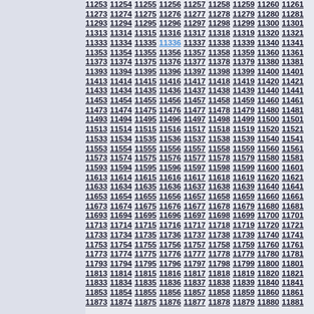Grid of numbers from 11253 to 11881, arranged in rows of 9 numbers incrementing by 20, with 11336 highlighted in blue